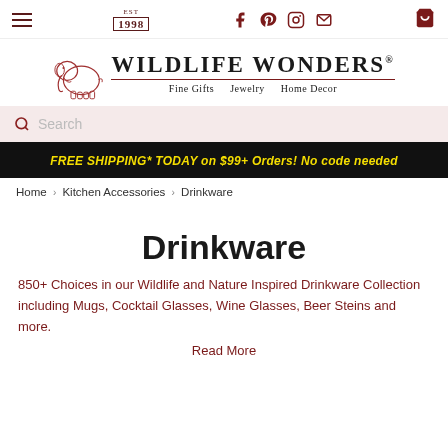EST 1998 | Social icons | Cart
[Figure (logo): Wildlife Wonders elephant logo with text 'WILDLIFE WONDERS® Fine Gifts Jewelry Home Decor']
Search
FREE SHIPPING* TODAY on $99+ Orders! No code needed
Home › Kitchen Accessories › Drinkware
Drinkware
850+ Choices in our Wildlife and Nature Inspired Drinkware Collection including Mugs, Cocktail Glasses, Wine Glasses, Beer Steins and more.
Read More